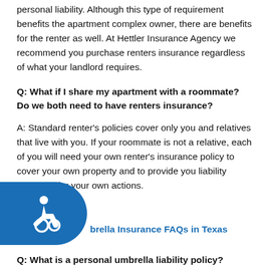personal liability. Although this type of requirement benefits the apartment complex owner, there are benefits for the renter as well. At Hettler Insurance Agency we recommend you purchase renters insurance regardless of what your landlord requires.
Q: What if I share my apartment with a roommate? Do we both need to have renters insurance?
A: Standard renter's policies cover only you and relatives that live with you. If your roommate is not a relative, each of you will need your own renter's insurance policy to cover your own property and to provide you liability coverage for your own actions.
Umbrella Insurance FAQs in Texas
Q: What is a personal umbrella liability policy?